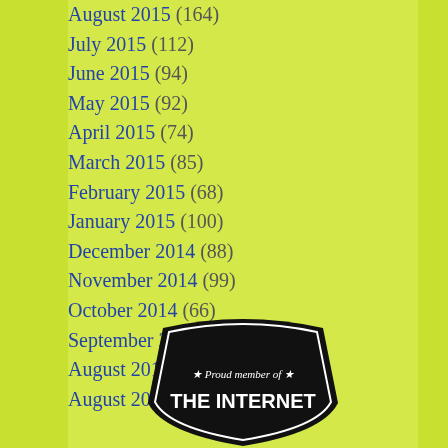August 2015 (164)
July 2015 (112)
June 2015 (94)
May 2015 (92)
April 2015 (74)
March 2015 (85)
February 2015 (68)
January 2015 (100)
December 2014 (88)
November 2014 (99)
October 2014 (66)
September 2014 (64)
August 2014 (24)
August 2013 (1)
[Figure (logo): Badge reading 'Proud member of THE INTERNET' on a black shield/badge shape with white text and stars]